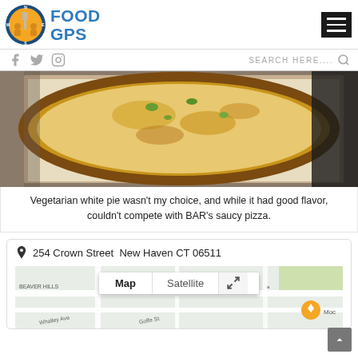FOOD GPS
[Figure (photo): Close-up photo of a vegetarian white pizza with cheese and green peppers on a baking sheet/parchment paper]
Vegetarian white pie wasn't my choice, and while it had good flavor, couldn't compete with BAR's saucy pizza.
254 Crown Street New Haven CT 06511
[Figure (map): Google Maps embedded map showing the area around 254 Crown Street, New Haven CT 06511, with Map/Satellite toggle visible and street labels including Whalley Ave, Goffe St, and Beaver Hills]